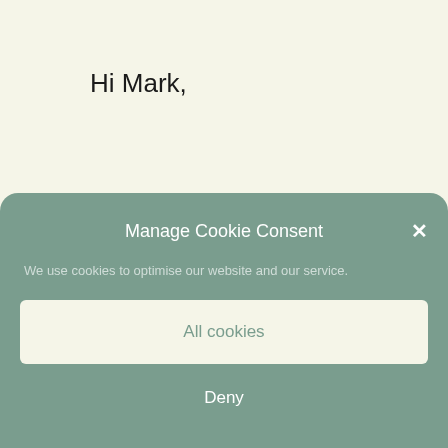Hi Mark,
Thank you for your comment.
Let me find this out for you and we will post the answer here.
Manage Cookie Consent
We use cookies to optimise our website and our service.
All cookies
Deny